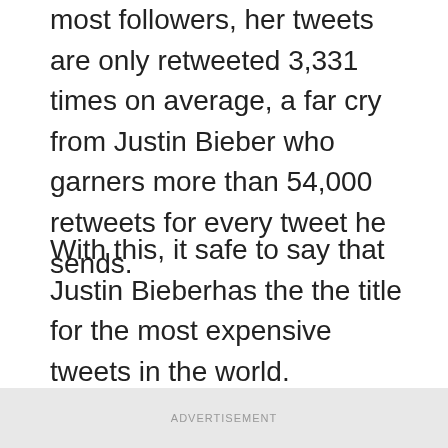most followers, her tweets are only retweeted 3,331 times on average, a far cry from Justin Bieber who garners more than 54,000 retweets for every tweet he sends.
With this, it safe to say that Justin Bieberhas the the title for the most expensive tweets in the world. Remember a single tweet from Cristiano Ronaldo is valued at more than $200,000 with average retweets of about 5,000.
ADVERTISEMENT